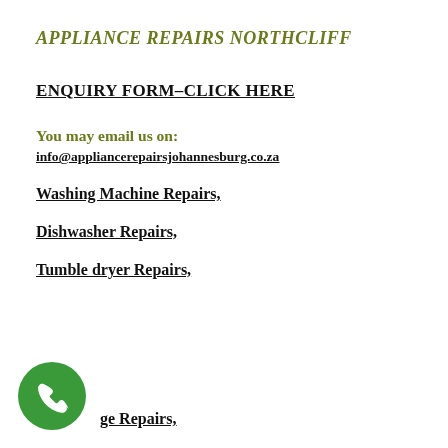APPLIANCE REPAIRS NORTHCLIFF
ENQUIRY FORM–CLICK HERE
You may email us on:
info@appliancerepairsjohannesburg.co.za
Washing Machine Repairs,
Dishwasher Repairs,
Tumble dryer Repairs,
[Figure (illustration): Green circle phone call icon]
...ge Repairs,